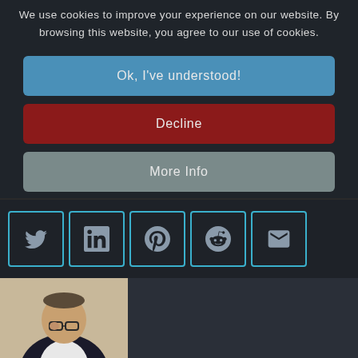We use cookies to improve your experience on our website. By browsing this website, you agree to our use of cookies.
Ok, I've understood!
Decline
More Info
[Figure (screenshot): Social share buttons row: Twitter, LinkedIn, Pinterest, Reddit, Email — all outlined in cyan/teal on dark background]
[Figure (photo): A man in a dark blazer adjusting glasses, partially visible, against a light background. Right portion is a dark panel.]